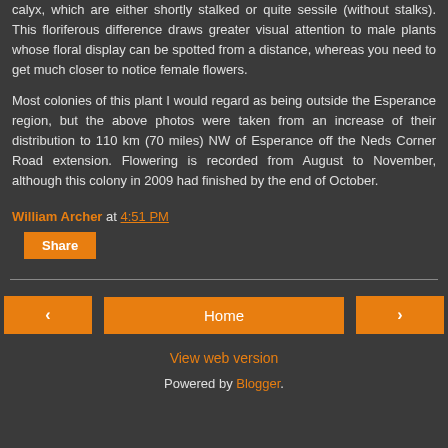calyx, which are either shortly stalked or quite sessile (without stalks). This floriferous difference draws greater visual attention to male plants whose floral display can be spotted from a distance, whereas you need to get much closer to notice female flowers.
Most colonies of this plant I would regard as being outside the Esperance region, but the above photos were taken from an increase of their distribution to 110 km (70 miles) NW of Esperance off the Neds Corner Road extension. Flowering is recorded from August to November, although this colony in 2009 had finished by the end of October.
William Archer at 4:51 PM
Share
Home
View web version
Powered by Blogger.